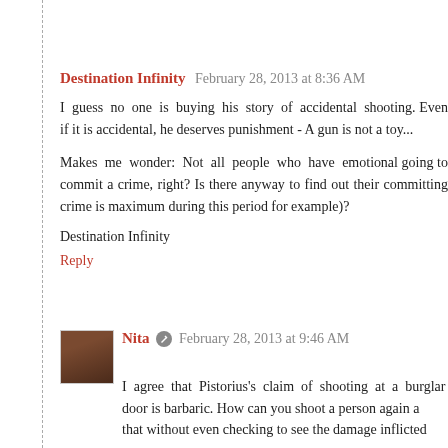Destination Infinity  February 28, 2013 at 8:36 AM
I guess no one is buying his story of accidental shooting. Even if it is accidental, he deserves punishment - A gun is not a toy...
Makes me wonder: Not all people who have emotional problems are going to commit a crime, right? Is there anyway to find out when their committing crime is maximum during this period (when angry, for example)?
Destination Infinity
Reply
Nita  February 28, 2013 at 9:46 AM
I agree that Pistorius's claim of shooting at a burglar through a closed door is barbaric. How can you shoot a person again and and that without even checking to see the damage inflicted...